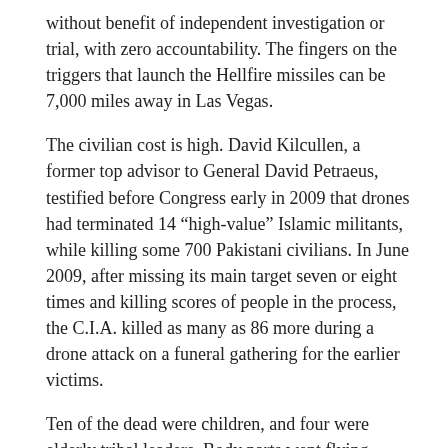without benefit of independent investigation or trial, with zero accountability. The fingers on the triggers that launch the Hellfire missiles can be 7,000 miles away in Las Vegas.
The civilian cost is high. David Kilcullen, a former top advisor to General David Petraeus, testified before Congress early in 2009 that drones had terminated 14 “high-value” Islamic militants, while killing some 700 Pakistani civilians. In June 2009, after missing its main target seven or eight times and killing scores of people in the process, the C.I.A. killed as many as 86 more during a drone attack on a funeral gathering for the earlier victims.
Ten of the dead were children, and four were elderly tribal leaders. Body parts went flying everywhere. These were innocent country people. The C.I.A. made no apology. Who was the terrorist in that attack?
It violates international law and any sense of morality or clear thinking to allow this violence in our name. These victims had